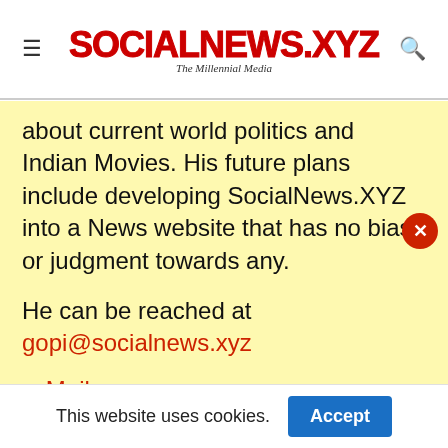SOCIALNEWS.XYZ — The Millennial Media
about current world politics and Indian Movies. His future plans include developing SocialNews.XYZ into a News website that has no bias or judgment towards any.
He can be reached at gopi@socialnews.xyz
Mail
Web
This website uses cookies.